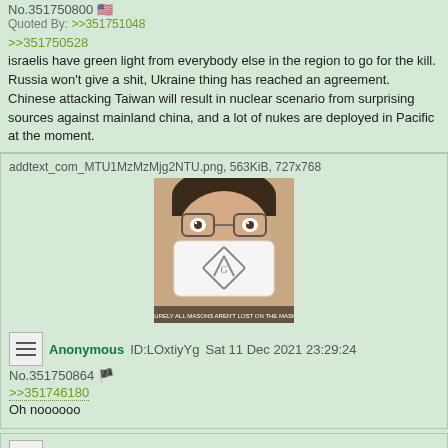No.351750800 [flag]
Quoted By: >>351751048
>>351750528
israelis have green light from everybody else in the region to go for the kill. Russia won't give a shit, Ukraine thing has reached an agreement. Chinese attacking Taiwan will result in nuclear scenario from surprising sources against mainland china, and a lot of nukes are deployed in Pacific at the moment.
addtext_com_MTU1MzMzMjg2NTU.png, 563KiB, 727x768
[Figure (photo): Photo of a person wearing a white face mask with a Masonic square and compass symbol on it, wearing glasses and a white coat/shirt. Text at bottom of image reads: SURELY ALL MASONS AREN'T LOST ON THE MASK.]
Anonymous ID:LOxtiyYg Sat 11 Dec 2021 23:29:24
No.351750864 [flag]
>>351746180
Oh noooooo
Anonymous ID:kx9Uz7us Sat 11 Dec 2021 23:29:55
No.351750921 [flag]
>>351750669